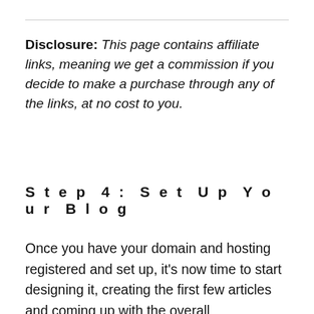Disclosure: This page contains affiliate links, meaning we get a commission if you decide to make a purchase through any of the links, at no cost to you.
Step 4: Set Up Your Blog
Once you have your domain and hosting registered and set up, it's now time to start designing it, creating the first few articles and coming up with the overall